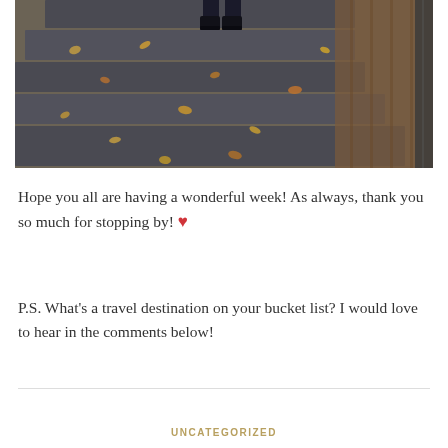[Figure (photo): Overhead view of a person standing on stone steps covered with fallen autumn leaves, wearing dark jeans and black boots, with a metal fence/railing visible on the right side.]
Hope you all are having a wonderful week! As always, thank you so much for stopping by! ❤
P.S. What's a travel destination on your bucket list? I would love to hear in the comments below!
UNCATEGORIZED